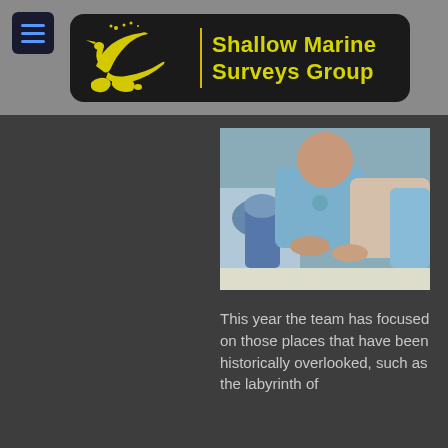[Figure (logo): Shallow Marine Surveys Group logo: yellow heron and Falkland Islands silhouette on dark background with yellow text]
[Figure (photo): Two people examining something under a microscope in a laboratory setting, wearing blue shirts]
This year the team has focused on those places that have been historically overlooked, such as the labyrinth of